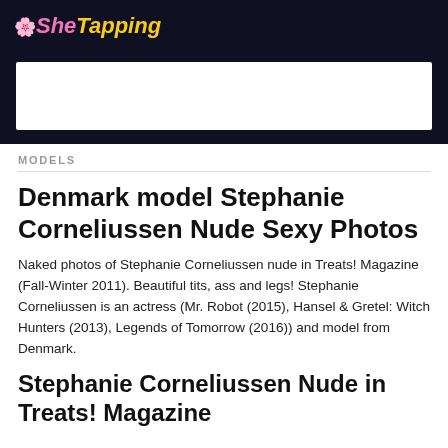SheTapping
[Advertisement banner]
MODELS
Denmark model Stephanie Corneliussen Nude Sexy Photos
Naked photos of Stephanie Corneliussen nude in Treats! Magazine (Fall-Winter 2011). Beautiful tits, ass and legs! Stephanie Corneliussen is an actress (Mr. Robot (2015), Hansel & Gretel: Witch Hunters (2013), Legends of Tomorrow (2016)) and model from Denmark.
Stephanie Corneliussen Nude in Treats! Magazine